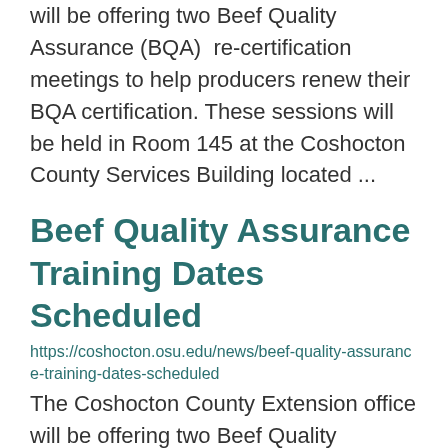will be offering two Beef Quality Assurance (BQA)  re-certification meetings to help producers renew their BQA certification. These sessions will be held in Room 145 at the Coshocton County Services Building located ...
Beef Quality Assurance Training Dates Scheduled
https://coshocton.osu.edu/news/beef-quality-assurance-training-dates-scheduled
The Coshocton County Extension office will be offering two Beef Quality Assurance (BQA) re-certification meetings to help producers renew their BQA